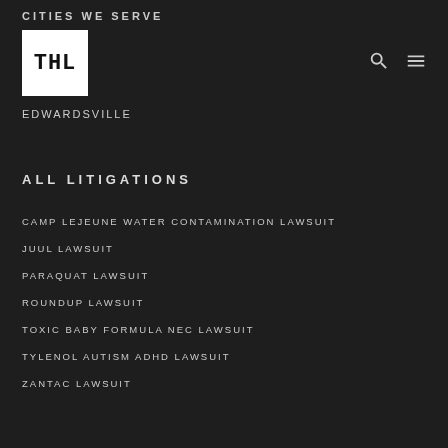CITIES WE SERVE
[Figure (logo): THL law firm logo, white box with THL text in black monospace font]
EDWARDSVILLE
ALL LITIGATIONS
CAMP LEJEUNE WATER CONTAMINATION LAWSUIT
JUUL LAWSUIT
PARAQUAT LAWSUIT
ROUNDUP LAWSUIT
TOXIC BABY FORMULA NEC LAWSUIT
TYLENOL AUTISM ADHD LAWSUIT
ZANTAC LAWSUIT